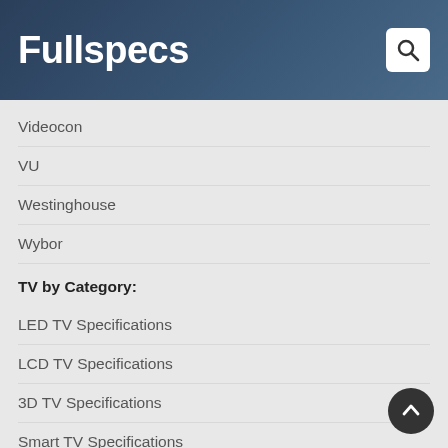Fullspecs
Videocon
VU
Westinghouse
Wybor
TV by Category:
LED TV Specifications
LCD TV Specifications
3D TV Specifications
Smart TV Specifications
Plasma TV Specifications
Flat TV Specifications
Android TV Specifications
TV Dimensions: